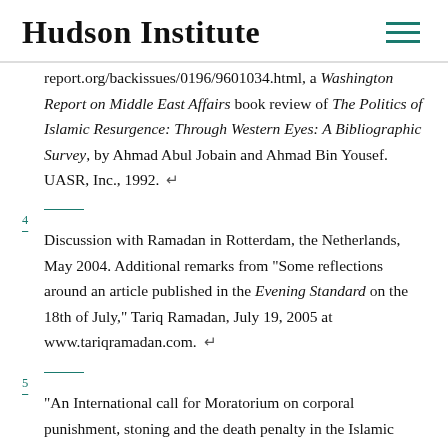Hudson Institute
report.org/backissues/0196/9601034.html, a Washington Report on Middle East Affairs book review of The Politics of Islamic Resurgence: Through Western Eyes: A Bibliographic Survey, by Ahmad Abul Jobain and Ahmad Bin Yousef. UASR, Inc., 1992.
4  Discussion with Ramadan in Rotterdam, the Netherlands, May 2004. Additional remarks from "Some reflections around an article published in the Evening Standard on the 18th of July," Tariq Ramadan, July 19, 2005 at www.tariqramadan.com.
5  "An International call for Moratorium on corporal punishment, stoning and the death penalty in the Islamic World," Tariq Ramadan, March 30, 2005, www.tariqramadan.com.